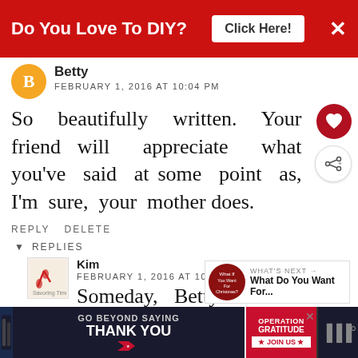[Figure (screenshot): Red advertisement banner: 'Do You Love To DIY? Click Here!' with close X button]
Betty
FEBRUARY 1, 2016 AT 10:04 PM
So beautifully written. Your friend will appreciate what you've said at some point as, I'm sure, your mother does.
REPLY DELETE
REPLIES
Kim
FEBRUARY 1, 2016 AT 10:0[truncated]
Someday, Betty...and thank you
[Figure (infographic): Bottom advertisement: GO BEYOND SAYING THANK YOU - OPERATION GRATITUDE - JOIN US]
WHAT'S NEXT → What Do You Want For...